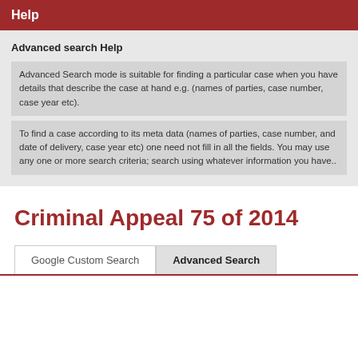Help
Advanced search Help
Advanced Search mode is suitable for finding a particular case when you have details that describe the case at hand e.g. (names of parties, case number, case year etc).
To find a case according to its meta data (names of parties, case number, and date of delivery, case year etc) one need not fill in all the fields. You may use any one or more search criteria; search using whatever information you have..
Criminal Appeal 75 of 2014
Google Custom Search	Advanced Search